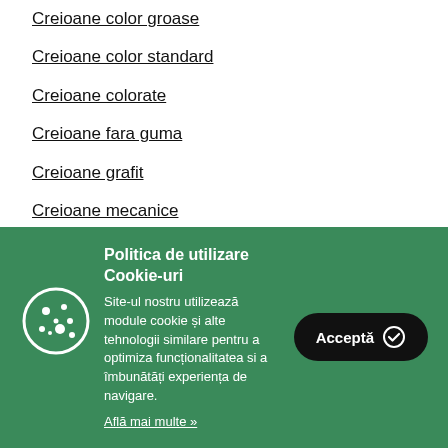Creioane color groase
Creioane color standard
Creioane colorate
Creioane fara guma
Creioane grafit
Creioane mecanice
Creme de maini
Politica de utilizare Cookie-uri
Site-ul nostru utilizează module cookie și alte tehnologii similare pentru a optimiza funcționalitatea si a îmbunătăți experiența de navigare.
Află mai multe »